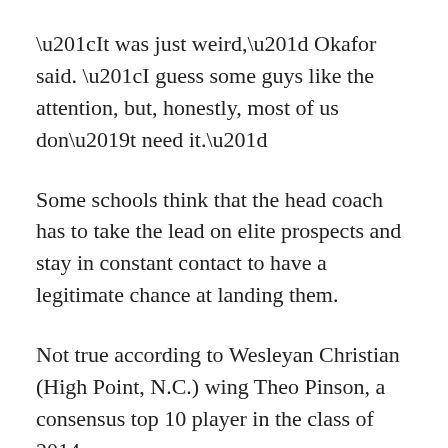“It was just weird,” Okafor said. “I guess some guys like the attention, but, honestly, most of us don’t need it.”
Some schools think that the head coach has to take the lead on elite prospects and stay in constant contact to have a legitimate chance at landing them.
Not true according to Wesleyan Christian (High Point, N.C.) wing Theo Pinson, a consensus top 10 player in the class of 2014.
“I don’t need to hear from the head coach too often,” Pinson said. “As long as I hear from him from time to time that’s fine with me. It can’t be never. That would be a turnoff. But I know he’s